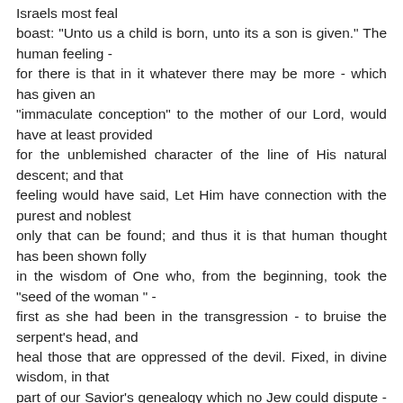Israels most feal boast: "Unto us a child is born, unto its a son is given." The human feeling - for there is that in it whatever there may be more - which has given an "immaculate conception" to the mother of our Lord, would have at least provided for the unblemished character of the line of His natural descent; and that feeling would have said, Let Him have connection with the purest and noblest only that can be found; and thus it is that human thought has been shown folly in the wisdom of One who, from the beginning, took the "seed of the woman " - first as she had been in the transgression - to bruise the serpent's head, and heal those that are oppressed of the devil. Fixed, in divine wisdom, in that part of our Savior's genealogy which no Jew could dispute - for